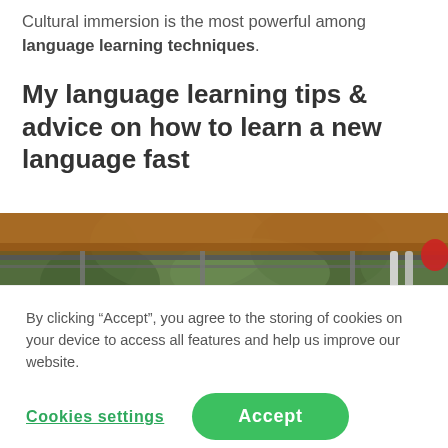Cultural immersion is the most powerful among language learning techniques.
My language learning tips & advice on how to learn a new language fast
[Figure (photo): Partial view of a vehicle (SUV/truck) roof rack with lush green jungle foliage in the background and a red object visible at the right edge.]
By clicking “Accept”, you agree to the storing of cookies on your device to access all features and help us improve our website.
Cookies settings | Accept